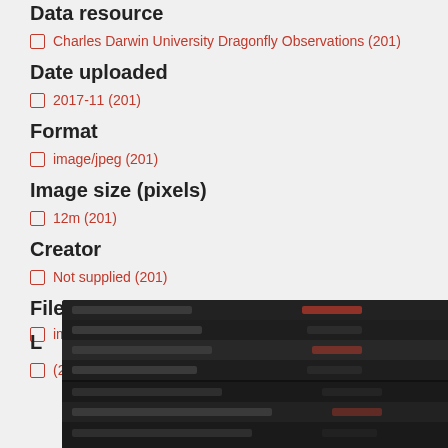Data resource
Charles Darwin University Dragonfly Observations (201)
Date uploaded
2017-11 (201)
Format
image/jpeg (201)
Image size (pixels)
12m (201)
Creator
Not supplied (201)
File type
image (201)
L...
(201)
[Figure (screenshot): Dark dropdown/context menu overlay showing partially visible menu items with dark background]